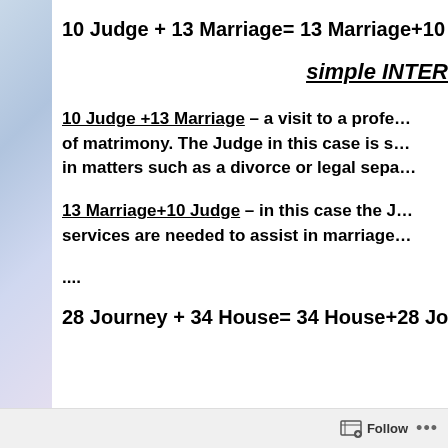10 Judge + 13 Marriage= 13 Marriage+10 J…
simple INTER…
10 Judge +13 Marriage – a visit to a profe… of matrimony. The Judge in this case is s… in matters such as a divorce or legal sepa…
13 Marriage+10 Judge – in this case the J… services are needed to assist in marriage…
....
28 Journey + 34 House= 34 House+28 Jo…
Follow